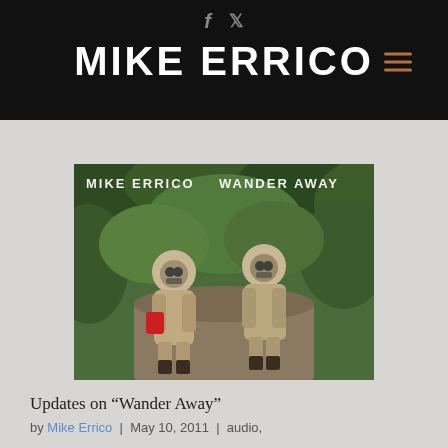f  🐦  MIKE ERRICO  ≡
[Figure (photo): Album cover for 'Wander Away' by Mike Errico showing two figures in hazmat suits walking through green foliage, with white text 'MIKE ERRICO  WANDER AWAY' overlaid at the top.]
Updates on “Wander Away”
by Mike Errico | May 10, 2011 | audio,